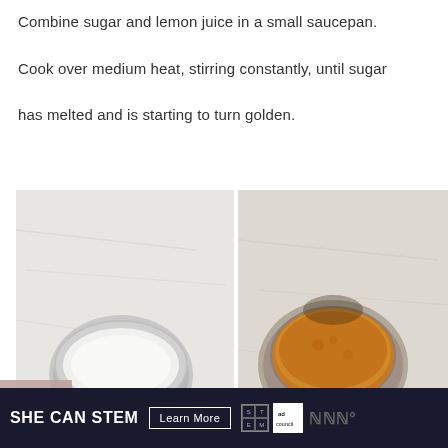Combine sugar and lemon juice in a small saucepan. Cook over medium heat, stirring constantly, until sugar has melted and is starting to turn golden.
[Figure (photo): Two side-by-side photos of saucepans on marble surface. Left: small saucepan with white granulated sugar. Right: same saucepan with golden caramelized sugar. Overlaid with accessibility icon, heart/share icons, and a 'What's Next' thumbnail panel showing Easy No-Cook Vanilla Ice...]
[Figure (infographic): Ad banner: SHE CAN STEM with Learn More button, STEM grid logo, Ad Council logo, and partially visible website watermark.]